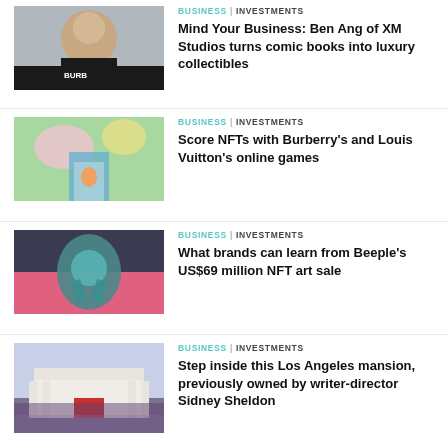[Figure (photo): Man in black Burberry t-shirt smiling]
BUSINESS | INVESTMENTS
Mind Your Business: Ben Ang of XM Studios turns comic books into luxury collectibles
[Figure (photo): Colorful fantasy digital art scene with flowers and archway]
BUSINESS | INVESTMENTS
Score NFTs with Burberry's and Louis Vuitton's online games
[Figure (photo): Dark sculptural figure with metallic texture against pink background]
BUSINESS | INVESTMENTS
What brands can learn from Beeple's US$69 million NFT art sale
[Figure (photo): White neoclassical mansion with red door at dusk]
BUSINESS | INVESTMENTS
Step inside this Los Angeles mansion, previously owned by writer-director Sidney Sheldon
[Figure (photo): Partial thumbnail of red-toned image]
BUSINESS | INVESTMENTS